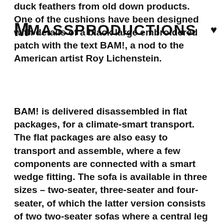MASSPRODUCTIONS
duck feathers from old down products. One of the cushions have been designed with details of a black large embroidered patch with the text BAM!, a nod to the American artist Roy Lichenstein.
BAM! is delivered disassembled in flat packages, for a climate-smart transport. The flat packages are also easy to transport and assemble, where a few components are connected with a smart wedge fitting. The sofa is available in three sizes – two-seater, three-seater and four-seater, of which the latter version consists of two two-seater sofas where a central leg connects the parts with a wedge fitting.
In February 2021 the Swedish music producer